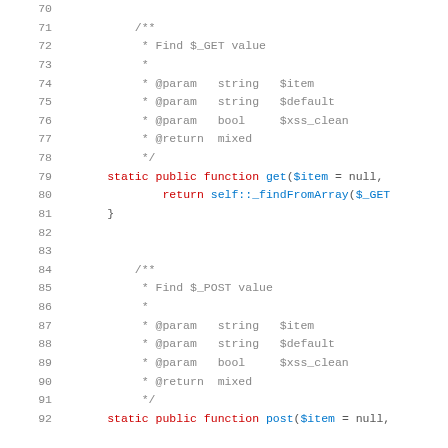Source code listing lines 70-92 showing PHP code with doc comments for get() and post() static public functions finding $_GET and $_POST values